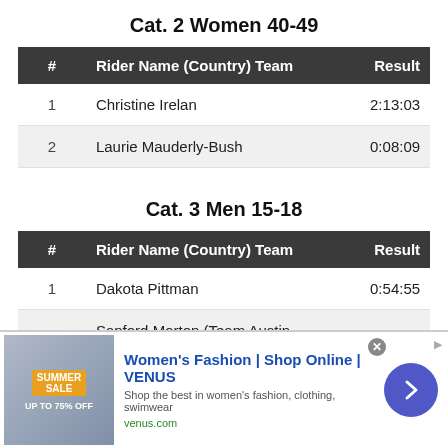Cat. 2 Women 40-49
| # | Rider Name (Country) Team | Result |
| --- | --- | --- |
| 1 | Christine Irelan | 2:13:03 |
| 2 | Laurie Mauderly-Bush | 0:08:09 |
Cat. 3 Men 15-18
| # | Rider Name (Country) Team | Result |
| --- | --- | --- |
| 1 | Dakota Pittman | 0:54:55 |
| 2 | Sanford Morton (Team Austin Parks & Rec Dept) | 0:00:12 |
[Figure (advertisement): Women's Fashion | Shop Online | VENUS advertisement banner with sale image, blue title text, description, venus.com URL, and purple arrow button]